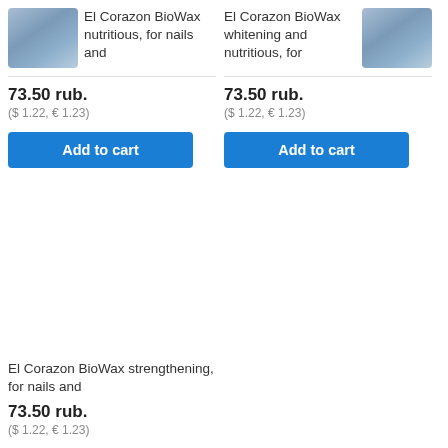[Figure (photo): Product image placeholder for El Corazon BioWax (left)]
El Corazon BioWax nutritious, for nails and
73.50 rub.
($ 1.22, € 1.23)
Add to cart
[Figure (photo): Product image placeholder for El Corazon BioWax (right)]
El Corazon BioWax whitening and nutritious, for
73.50 rub.
($ 1.22, € 1.23)
Add to cart
El Corazon BioWax strengthening, for nails and
73.50 rub.
($ 1.22, € 1.23)